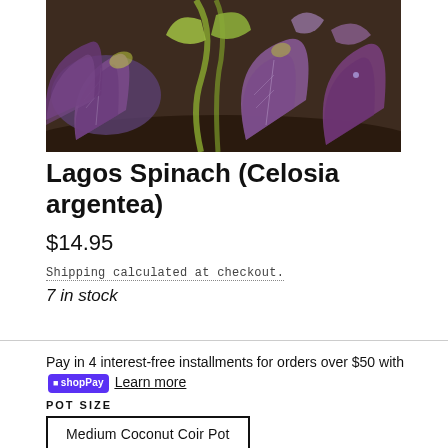[Figure (photo): Close-up photo of Lagos Spinach (Celosia argentea) plants with purple and green leaves growing in dark soil]
Lagos Spinach (Celosia argentea)
$14.95
Shipping calculated at checkout.
7 in stock
Pay in 4 interest-free installments for orders over $50 with shopPay Learn more
POT SIZE
Medium Coconut Coir Pot